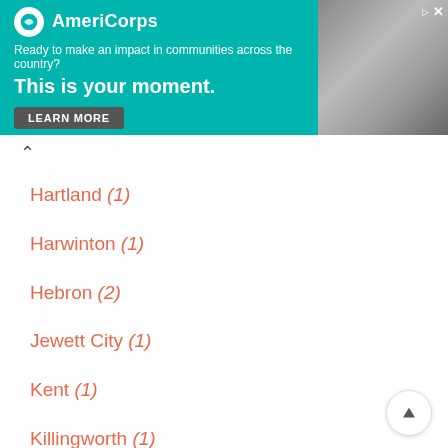[Figure (other): AmeriCorps advertisement banner with teal background. Logo and text: 'Ready to make an impact in communities across the country? This is your moment.' with LEARN MORE button. Photo of person on right side.]
Hartland (1)
Harwinton (1)
Hebron (2)
Jewett City (1)
Kent (1)
Killingworth (1)
Lakeville (2)
Lebanon (1)
Ledyard (2)